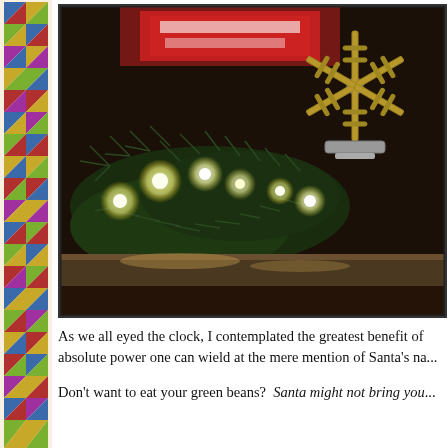[Figure (photo): A close-up photograph of Christmas garland with white fairy lights glowing, a decorative metallic snowflake ornament on the right, and a red Coca-Cola branded item visible in the background. The scene is warm-toned and festive, shot on what appears to be a shelf or mantel.]
As we all eyed the clock, I contemplated the greatest benefit of absolute power one can wield at the mere mention of Santa's na...
Don't want to eat your green beans?  Santa might not bring you...